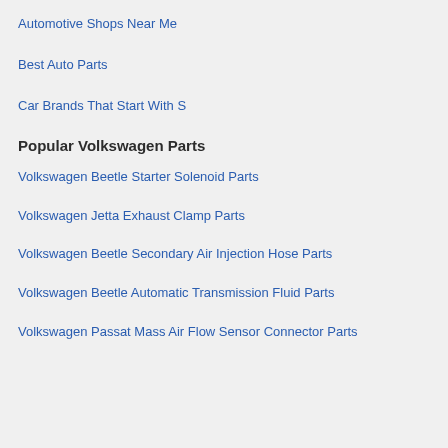Automotive Shops Near Me
Best Auto Parts
Car Brands That Start With S
Popular Volkswagen Parts
Volkswagen Beetle Starter Solenoid Parts
Volkswagen Jetta Exhaust Clamp Parts
Volkswagen Beetle Secondary Air Injection Hose Parts
Volkswagen Beetle Automatic Transmission Fluid Parts
Volkswagen Passat Mass Air Flow Sensor Connector Parts